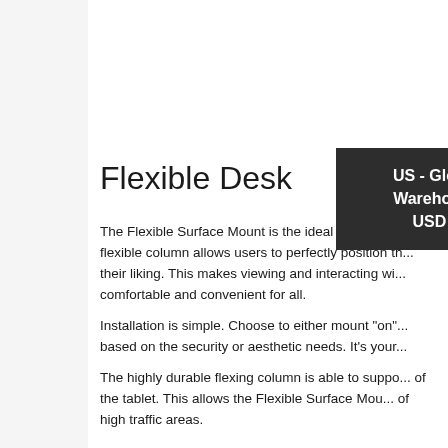Flexible Desk...
[Figure (infographic): US - Global Warehouse USD $ dropdown overlay in dark background]
The Flexible Surface Mount is the ideal kiosk for u... flexible column allows users to perfectly position th... their liking. This makes viewing and interacting wi... comfortable and convenient for all.
Installation is simple. Choose to either mount "on"... based on the security or aesthetic needs. It's your...
The highly durable flexing column is able to suppo... of the tablet. This allows the Flexible Surface Mou... of high traffic areas.